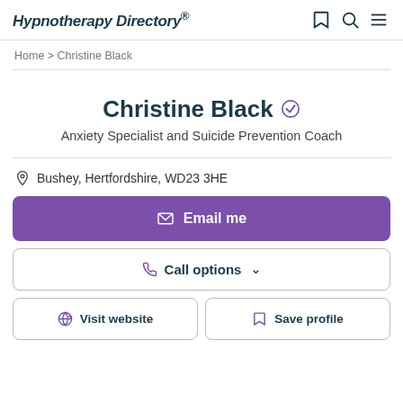Hypnotherapy Directory
Home > Christine Black
Christine Black
Anxiety Specialist and Suicide Prevention Coach
Bushey, Hertfordshire, WD23 3HE
Email me
Call options
Visit website
Save profile